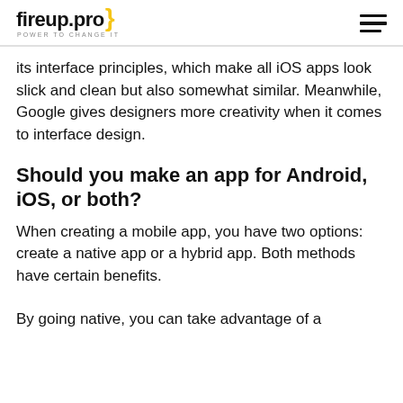fireup.pro POWER TO CHANGE IT
its interface principles, which make all iOS apps look slick and clean but also somewhat similar. Meanwhile, Google gives designers more creativity when it comes to interface design.
Should you make an app for Android, iOS, or both?
When creating a mobile app, you have two options: create a native app or a hybrid app. Both methods have certain benefits.
By going native, you can take advantage of a